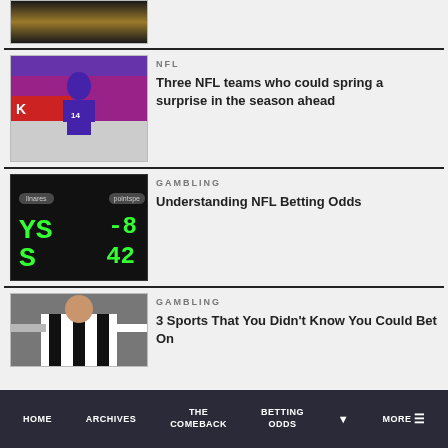[Figure (photo): Partial top article card with player image]
[Figure (photo): NFL player in purple Vikings jersey number 14 celebrating]
NFL
Three NFL teams who could spring a surprise in the season ahead
[Figure (screenshot): Dark sports betting odds screen with green numbers showing YS, S, -8, 42]
GAMBLING
Understanding NFL Betting Odds
[Figure (photo): Referee in striped shirt with arms outstretched]
GAMBLING
3 Sports That You Didn't Know You Could Bet On
HOME  ARCHIVES  THE COMEBACK  BETTING ODDS  MORE